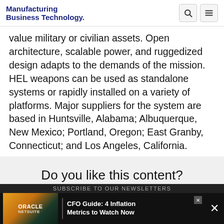Manufacturing Business Technology
value military or civilian assets. Open architecture, scalable power, and ruggedized design adapts to the demands of the mission. HEL weapons can be used as standalone systems or rapidly installed on a variety of platforms. Major suppliers for the system are based in Huntsville, Alabama; Albuquerque, New Mexico; Portland, Oregon; East Granby, Connecticut; and Los Angeles, California.
Do you like this content?
Subscribe to our newsletters to receive the latest